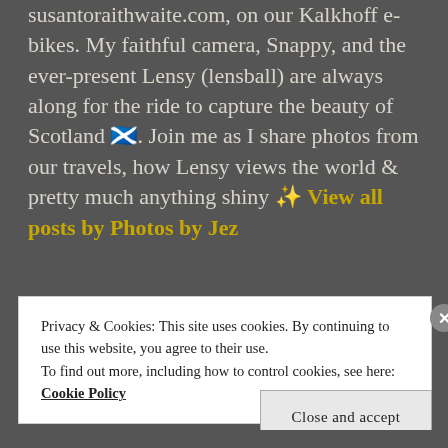susantoraithwaite.com, on our Kalkhoff e-bikes. My faithful camera, Snappy, and the ever-present Lensy (lensball) are always along for the ride to capture the beauty of Scotland 🏴󠁧󠁢󠁳󠁣󠁴󠁿. Join me as I share photos from our travels, how Lensy views the world & pretty much anything shiny ✨ View all posts by Photos by Jez
Privacy & Cookies: This site uses cookies. By continuing to use this website, you agree to their use.
To find out more, including how to control cookies, see here: Cookie Policy
Close and accept